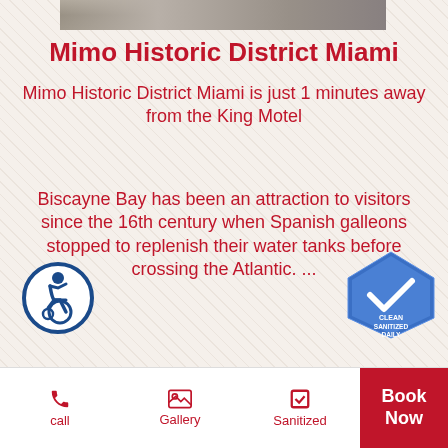[Figure (photo): Top portion of a photograph, likely showing a motel or outdoor scene — partially cropped]
Mimo Historic District Miami
Mimo Historic District Miami is just 1 minutes away from the King Motel
Biscayne Bay has been an attraction to visitors since the 16th century when Spanish galleons stopped to replenish their water tanks before crossing the Atlantic. ...
[Figure (logo): Wheelchair accessibility icon — white wheelchair symbol on blue circle]
[Figure (logo): Blue pentagon badge with checkmark: CLEAN SANITIZED DAILY]
Read More
call  Gallery  Sanitized  Book Now